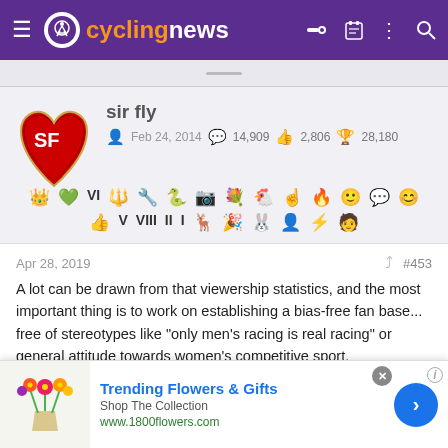cyclingnews
[Figure (other): Cycling News website header with purple background, hamburger menu, cyclist logo, site name 'cyclingnews' in orange and white, and header icons]
[Figure (other): Forum user profile avatar: SF 49ers style red heart shield logo with SF letters]
sir fly
Feb 24, 2014   14,909   2,806   28,180
[Figure (other): Forum user achievement badges and icons in two rows]
Apr 28, 2019   #453
A lot can be drawn from that viewership statistics, and the most important thing is to work on establishing a bias-free fan base... free of stereotypes like "only men's racing is real racing" or general attitude towards women's competitive sport.
[Figure (other): Advertisement banner: Trending Flowers & Gifts - Shop The Collection - www.1800flowers.com with flower bouquet image and blue arrow button]